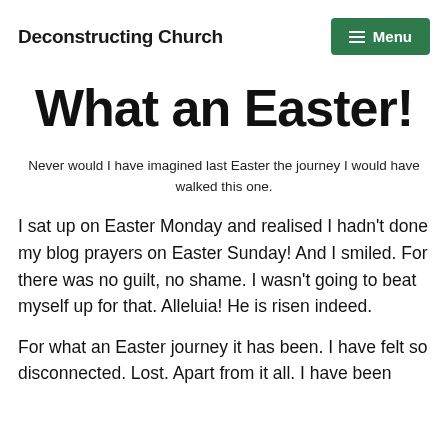Deconstructing Church
What an Easter!
Never would I have imagined last Easter the journey I would have walked this one.
I sat up on Easter Monday and realised I hadn't done my blog prayers on Easter Sunday! And I smiled. For there was no guilt, no shame. I wasn't going to beat myself up for that. Alleluia! He is risen indeed.
For what an Easter journey it has been. I have felt so disconnected. Lost. Apart from it all. I have been